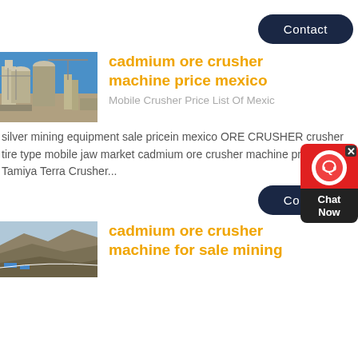Contact
[Figure (photo): Industrial mining facility with silos and steel structures against blue sky]
cadmium ore crusher machine price mexico
Mobile Crusher Price List Of Mexico silver mining equipment sale pricein mexico ORE CRUSHER crusher tire type mobile jaw market cadmium ore crusher machine price mexico Tamiya Terra Crusher...
[Figure (other): Chat support widget with headphone icon, red background and dark Chat Now label]
Contact
[Figure (photo): Open pit mining site with terraced landscape]
cadmium ore crusher machine for sale mining